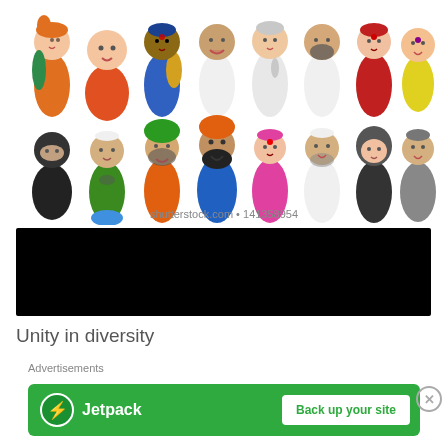[Figure (illustration): Two rows of cartoon diverse Indian characters in traditional clothing representing unity in diversity. Top row has 8 characters, bottom row has 8 characters. Shutterstock watermark: shutterstock.com • 141358954]
Unity in diversity
[Figure (other): Black redaction bar covering content]
Why India is so diverse
Advertisements
[Figure (infographic): Jetpack advertisement banner with green background showing Jetpack logo and 'Back up your site' button]